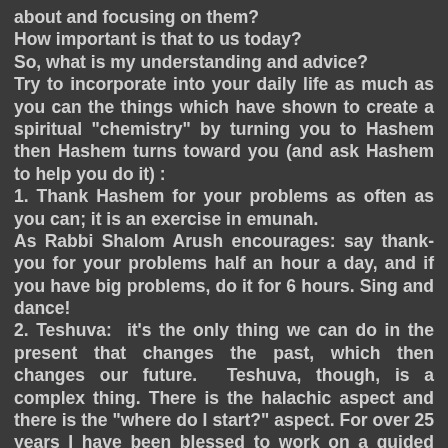about and focusing on them?
How important is that to us today?
So, what is my understanding and advice?
Try to incorporate into your daily life as much as you can the things which have shown to create a spiritual "chemistry" by turning you to Hashem then Hashem turns toward you (and ask Hashem to help you do it) :
1. Thank Hashem for your problems as often as you can; it is an exercise in emunah.
As Rabbi Shalom Arush encourages: say thank-you for your problems half an hour a day, and if you have big problems, do it for 6 hours. Sing and dance!
2. Teshuva:  it's the only thing we can do in the present that changes the past, which then changes our future.  Teshuva, though, is a complex thing. There is the halachic aspect and there is the "where do I start?" aspect. For over 25 years I have been blessed to work on a guided teshuva "script" which